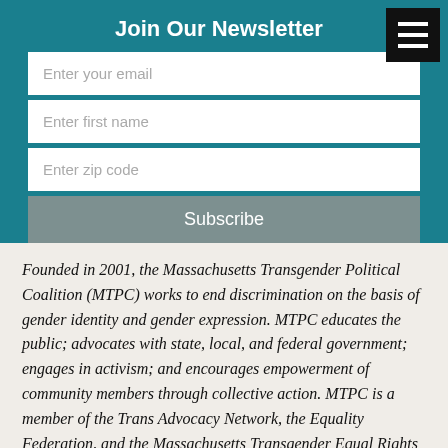Join Our Newsletter
Enter your email
Enter first name
Enter zip code
Subscribe
Founded in 2001, the Massachusetts Transgender Political Coalition (MTPC) works to end discrimination on the basis of gender identity and gender expression. MTPC educates the public; advocates with state, local, and federal government; engages in activism; and encourages empowerment of community members through collective action. MTPC is a member of the Trans Advocacy Network, the Equality Federation, and the Massachusetts Transgender Equal Rights Coalition.